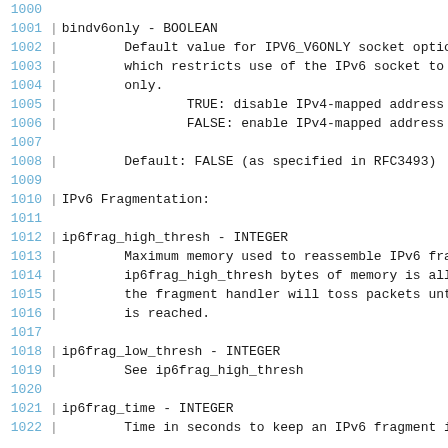1000
1001 bindv6only - BOOLEAN
1002         Default value for IPV6_V6ONLY socket optio
1003         which restricts use of the IPv6 socket to
1004         only.
1005                 TRUE: disable IPv4-mapped address
1006                 FALSE: enable IPv4-mapped address
1007
1008         Default: FALSE (as specified in RFC3493)
1009
1010 IPv6 Fragmentation:
1011
1012 ip6frag_high_thresh - INTEGER
1013         Maximum memory used to reassemble IPv6 fra
1014         ip6frag_high_thresh bytes of memory is all
1015         the fragment handler will toss packets unt
1016         is reached.
1017
1018 ip6frag_low_thresh - INTEGER
1019         See ip6frag_high_thresh
1020
1021 ip6frag_time - INTEGER
1022         Time in seconds to keep an IPv6 fragment i